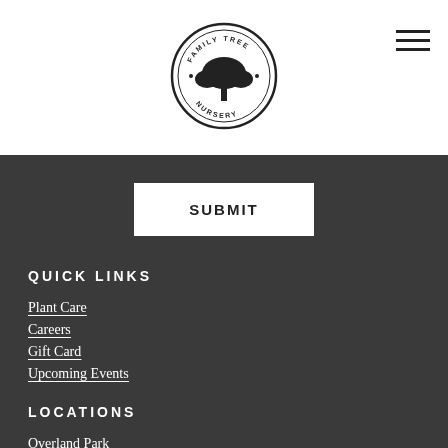[Figure (logo): Family Tree Nursery circular logo with tree icon]
SUBMIT
QUICK LINKS
Plant Care
Careers
Gift Card
Upcoming Events
LOCATIONS
Overland Park
Shawnee
Liberty